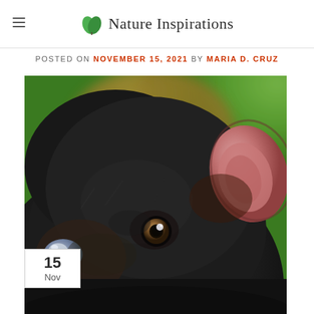flow in ecosystems using the role of the ... Nature Inspirations
POSTED ON NOVEMBER 15, 2021 BY MARIA D. CRUZ
[Figure (photo): Close-up photograph of a Tasmanian devil facing the camera, with black fur, dark eyes, a pale nose tip, and a pink ear visible on the right side, against a blurred green and orange background. A white date badge showing '15 Nov' is overlaid on the top-left corner of the image.]